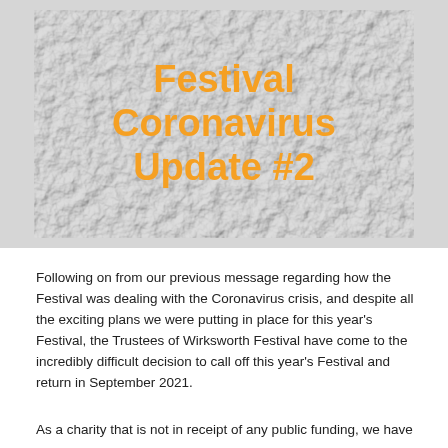[Figure (illustration): Crumpled paper texture background image with bold orange text reading 'Festival Coronavirus Update #2', centered on the image]
Following on from our previous message regarding how the Festival was dealing with the Coronavirus crisis, and despite all the exciting plans we were putting in place for this year's Festival, the Trustees of Wirksworth Festival have come to the incredibly difficult decision to call off this year's Festival and return in September 2021.
As a charity that is not in receipt of any public funding, we have